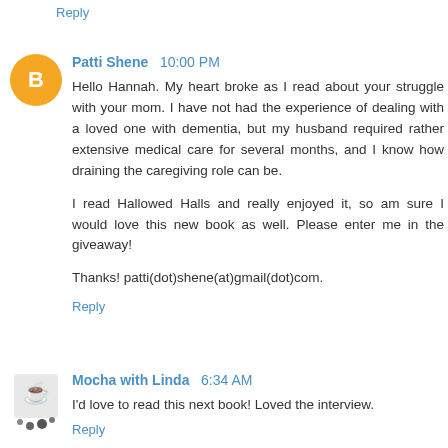Reply
Patti Shene  10:00 PM
Hello Hannah. My heart broke as I read about your struggle with your mom. I have not had the experience of dealing with a loved one with dementia, but my husband required rather extensive medical care for several months, and I know how draining the caregiving role can be.

I read Hallowed Halls and really enjoyed it, so am sure I would love this new book as well. Please enter me in the giveaway!

Thanks! patti(dot)shene(at)gmail(dot)com.
Reply
Mocha with Linda  6:34 AM
I'd love to read this next book! Loved the interview.
Reply